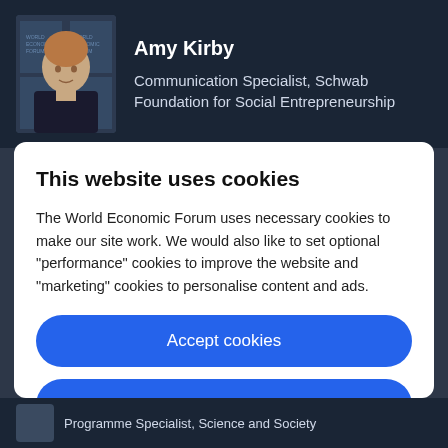[Figure (photo): Profile photo of Amy Kirby with World Economic Forum logo backdrop]
Amy Kirby
Communication Specialist, Schwab Foundation for Social Entrepreneurship
This website uses cookies
The World Economic Forum uses necessary cookies to make our site work. We would also like to set optional “performance” cookies to improve the website and “marketing” cookies to personalise content and ads.
Accept cookies
Reject cookies
Cookie settings
Programme Specialist, Science and Society